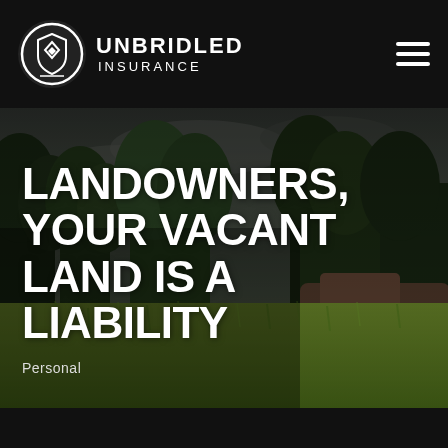Unbridled Insurance
[Figure (photo): Outdoor landscape photo showing a green meadow with tall grass in the foreground and a dense forest of trees (mixed deciduous and evergreen) in the background under a dramatic overcast sky. The image serves as a hero background for a vacant land insurance article.]
LANDOWNERS, YOUR VACANT LAND IS A LIABILITY
Personal